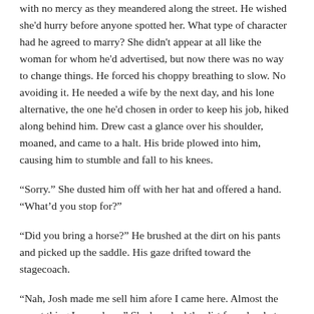with no mercy as they meandered along the street. He wished she'd hurry before anyone spotted her. What type of character had he agreed to marry? She didn't appear at all like the woman for whom he'd advertised, but now there was no way to change things. He forced his choppy breathing to slow. No avoiding it. He needed a wife by the next day, and his lone alternative, the one he'd chosen in order to keep his job, hiked along behind him. Drew cast a glance over his shoulder, moaned, and came to a halt. His bride plowed into him, causing him to stumble and fall to his knees.
“Sorry.” She dusted him off with her hat and offered a hand. “What’d you stop for?”
“Did you bring a horse?” He brushed at the dirt on his pants and picked up the saddle. His gaze drifted toward the stagecoach.
“Nah, Josh made me sell him afore I came here. Almost the worst thing I ever done.” She knocked the dirt from her hat before returning it to her head. “Here. There’s no reason to tote everything by yerself. Let me help.”